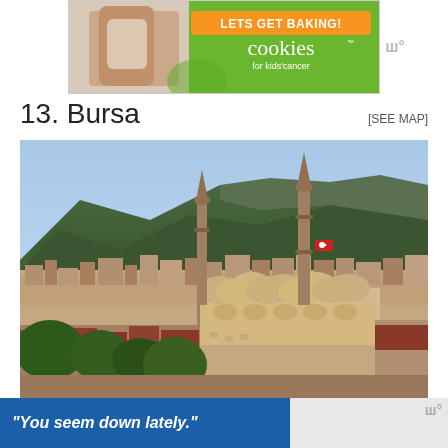[Figure (screenshot): Advertisement banner for 'Cookies for Kids' Cancer' charity baking campaign. Green background with orange 'LETS GET BAKING!' button, white 'cookies' text, and 'for kids' cancer' tagline.]
13. Bursa    [SEE MAP]
[Figure (photo): Panoramic photograph of Bursa, Turkey showing the Grand Mosque (Ulu Cami) with its distinctive multiple domes and two minarets in the foreground, surrounded by the city and Uludağ mountain in the background.]
[Figure (screenshot): Advertisement banner with blue background and white italic text reading: "You seem down lately."]